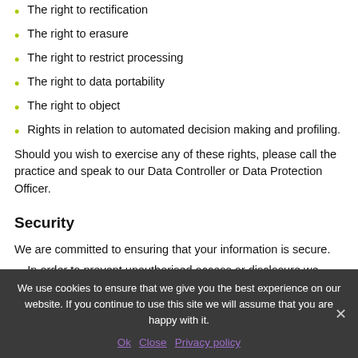The right to rectification
The right to erasure
The right to restrict processing
The right to data portability
The right to object
Rights in relation to automated decision making and profiling.
Should you wish to exercise any of these rights, please call the practice and speak to our Data Controller or Data Protection Officer.
Security
We are committed to ensuring that your information is secure.
In order to prevent unauthorised access or disclosure we have put in place suitable physical, electronic and managerial procedures to safeguard and secure the information we collect online.
We use cookies to ensure that we give you the best experience on our website. If you continue to use this site we will assume that you are happy with it.